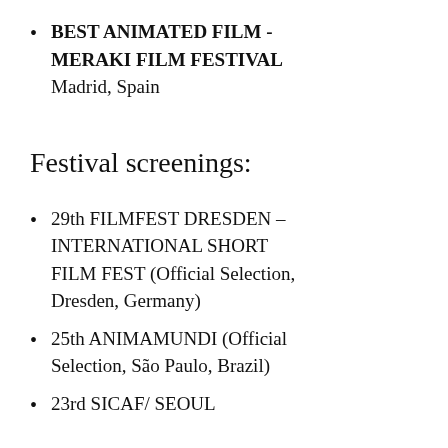BEST ANIMATED FILM - MERAKI FILM FESTIVAL Madrid, Spain
Festival screenings:
29th FILMFEST DRESDEN – INTERNATIONAL SHORT FILM FEST (Official Selection, Dresden, Germany)
25th ANIMAMUNDI (Official Selection, São Paulo, Brazil)
23rd SICAF/ SEOUL